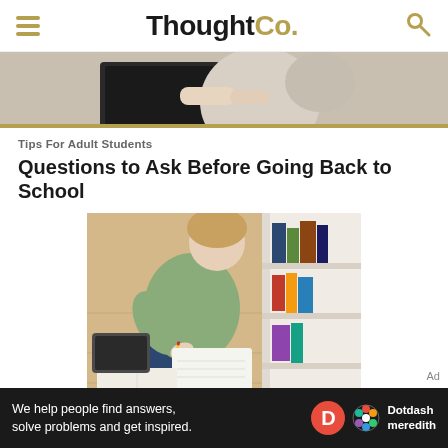ThoughtCo.
[Figure (photo): Overhead photo of person working at a laptop with hands resting on keyboard]
Tips For Adult Students
Questions to Ask Before Going Back to School
[Figure (photo): Overhead view of a woman sitting cross-legged on the floor writing in a notebook, with books and a bookshelf nearby]
We help people find answers, solve problems and get inspired.
[Figure (logo): Dotdash Meredith logo with D icon and colorful flower icon]